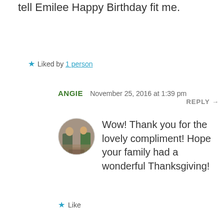tell Emilee Happy Birthday fit me.
★ Liked by 1 person
ANGIE  November 25, 2016 at 1:39 pm
REPLY →
[Figure (photo): Circular avatar photo of two people standing outdoors near a brick wall and greenery]
Wow! Thank you for the lovely compliment! Hope your family had a wonderful Thanksgiving!
★ Like